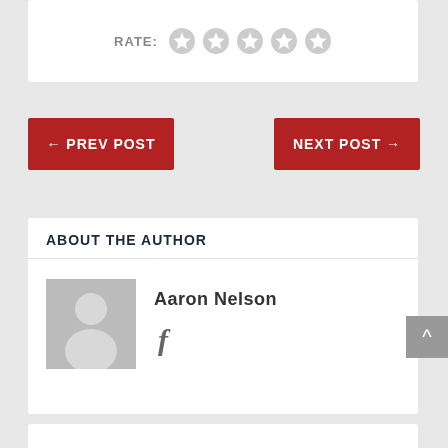RATE:
[Figure (illustration): Five empty/grey star rating icons in a row]
← PREV POST
NEXT POST →
ABOUT THE AUTHOR
[Figure (illustration): Grey placeholder avatar image of a person silhouette]
Aaron Nelson
[Figure (illustration): Facebook icon (letter f)]